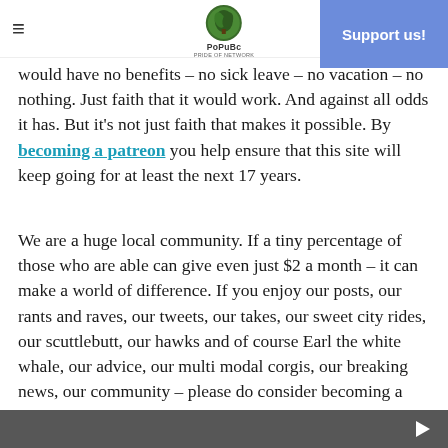≡  PoPuBc  Support us!
would have no benefits – no sick leave – no vacation – no nothing. Just faith that it would work. And against all odds it has. But it's not just faith that makes it possible. By becoming a patreon you help ensure that this site will keep going for at least the next 17 years.
We are a huge local community. If a tiny percentage of those who are able can give even just $2 a month – it can make a world of difference. If you enjoy our posts, our rants and raves, our tweets, our takes, our sweet city rides, our scuttlebutt, our hawks and of course Earl the white whale, our advice, our multi modal corgis, our breaking news, our community – please do consider becoming a supporter. Thank you. For those who are not able – I truly understand and it is OK. We will make it work.
[Figure (other): Advertisement banner at the bottom of the page]